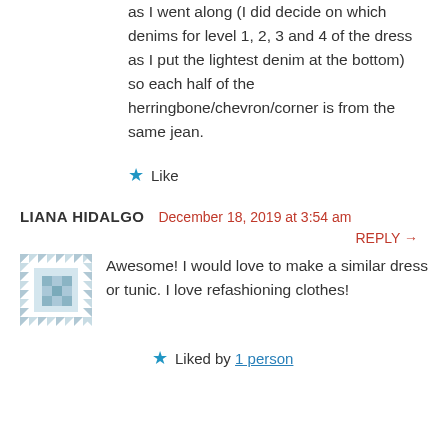as I went along (I did decide on which denims for level 1, 2, 3 and 4 of the dress as I put the lightest denim at the bottom) so each half of the herringbone/chevron/corner is from the same jean.
★ Like
LIANA HIDALGO  December 18, 2019 at 3:54 am
REPLY →
Awesome! I would love to make a similar dress or tunic. I love refashioning clothes!
★ Liked by 1 person